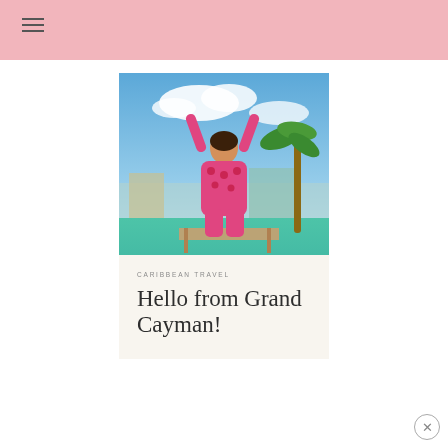[Figure (photo): A child in a pink floral onesie standing on a dock with arms raised, with turquoise Caribbean water and palm trees in the background]
CARIBBEAN TRAVEL
Hello from Grand Cayman!